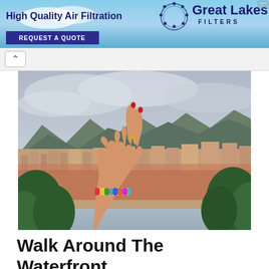[Figure (other): Advertisement banner for Great Lakes Filters showing 'High Quality Air Filtration' with logo and 'REQUEST A QUOTE' call-to-action button on a blue sky background]
[Figure (photo): Panoramic cityscape view with mountains in background, overcast sky, dense urban area with orange rooftops, green trees in foreground. A hand making a peace/victory sign with colorful beaded bracelet is prominently in the foreground.]
Walk Around The Waterfront